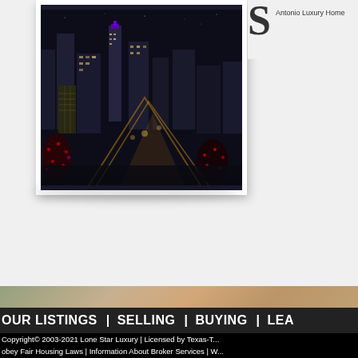[Figure (photo): Aerial night view of San Antonio city skyline with illuminated buildings, streets with light trails, and decorated trees in the foreground]
Antonio Luxury Home
[Figure (photo): Interior photo of a luxury home showing seating area with striped pillows and plants]
OUR LISTINGS | SELLING | BUYING | LEA
Copyright© 2003-2021 Lone Star Luxury | Licensed by Texas-T... obey Fair Housing Laws | Information About Broker Services | W...